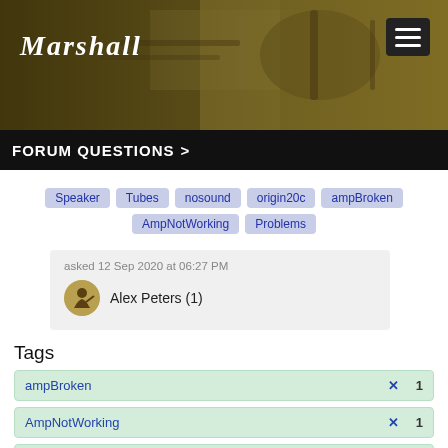Marshall
FORUM QUESTIONS >
Speaker  Tubes  nosound  origin20c  ampBroken  AmpNotWorking  Problems
asked 12 Sep 2020 at 06:27 PM
Alex Peters (1)
Tags
ampBroken  ✕  1
AmpNotWorking  ✕  1
origin20c  ✕  1
Speaker  ✕  1
nosound  1